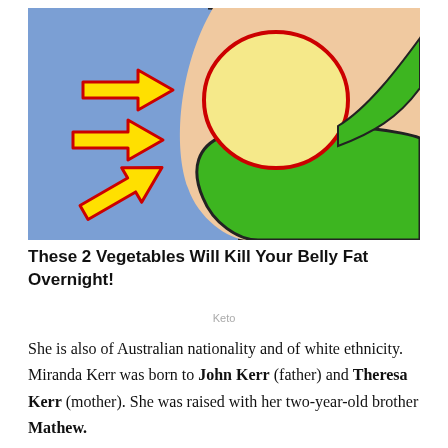[Figure (illustration): Cartoon illustration of a person's torso wearing a green bikini bottom, with a rounded belly, on a blue background. Three red-outlined yellow arrows point toward the belly area from the left side.]
These 2 Vegetables Will Kill Your Belly Fat Overnight!
Keto
She is also of Australian nationality and of white ethnicity. Miranda Kerr was born to John Kerr (father) and Theresa Kerr (mother). She was raised with her two-year-old brother Mathew.